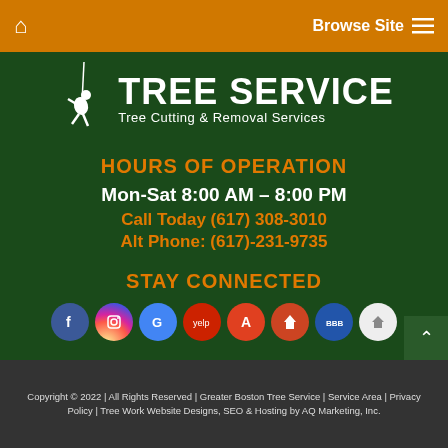Browse Site
[Figure (logo): Tree Service logo with a tree climber silhouette and text 'TREE SERVICE - Tree Cutting & Removal Services' on dark green background]
HOURS OF OPERATION
Mon-Sat 8:00 AM – 8:00 PM
Call Today (617) 308-3010
Alt Phone: (617)-231-9735
STAY CONNECTED
[Figure (infographic): Row of 8 social media and business directory circular icons: Facebook, Instagram, Google, Yelp, Angi, HomeAdvisor, BBB, and one more]
Copyright © 2022 | All Rights Reserved | Greater Boston Tree Service | Service Area | Privacy Policy | Tree Work Website Designs, SEO & Hosting by AQ Marketing, Inc.